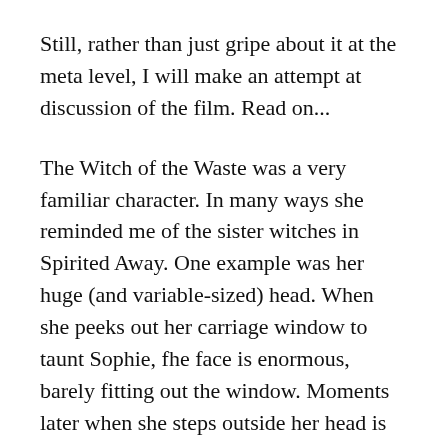Still, rather than just gripe about it at the meta level, I will make an attempt at discussion of the film. Read on...
The Witch of the Waste was a very familiar character. In many ways she reminded me of the sister witches in Spirited Away. One example was her huge (and variable-sized) head. When she peeks out her carriage window to taunt Sophie, fhe face is enormous, barely fitting out the window. Moments later when she steps outside her head is back to relatively normal proportion. Another similarity is that she turns out to be a sympathetic figure, not evil but having genuine emotion-driven motives